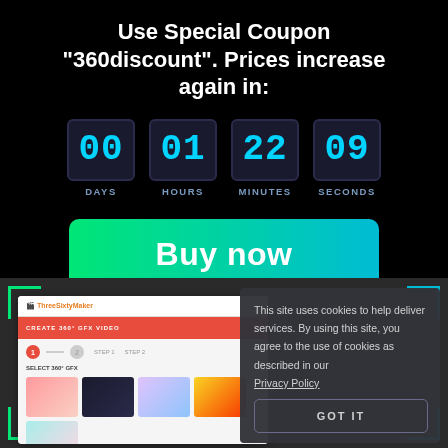Use Special Coupon "360discount". Prices increase again in:
[Figure (infographic): Countdown timer showing 00 DAYS, 01 HOURS, 22 MINUTES, 09 SECONDS in dark boxes with cyan digits]
[Figure (other): Buy now button with green-to-cyan gradient]
[Figure (screenshot): ThreeSixtyMaker app screenshot showing image grid and video creation workflow]
This site uses cookies to help deliver services. By using this site, you agree to the use of cookies as described in our
Privacy Policy
GOT IT